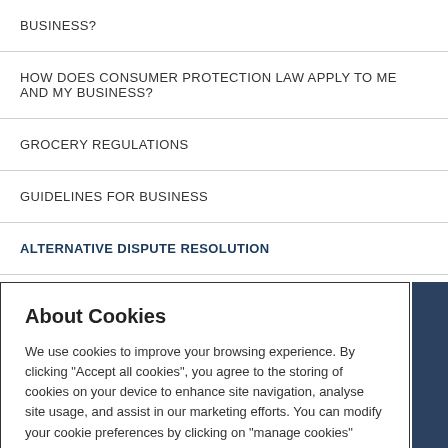BUSINESS?
HOW DOES CONSUMER PROTECTION LAW APPLY TO ME AND MY BUSINESS?
GROCERY REGULATIONS
GUIDELINES FOR BUSINESS
ALTERNATIVE DISPUTE RESOLUTION
PAWNBROKERS
About Cookies
We use cookies to improve your browsing experience. By clicking “Accept all cookies”, you agree to the storing of cookies on your device to enhance site navigation, analyse site usage, and assist in our marketing efforts. You can modify your cookie preferences by clicking on "manage cookies" button in our Cookie Policy